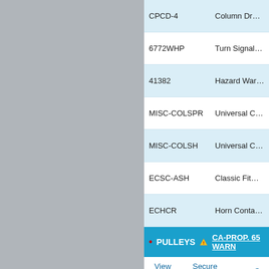| Part Number | Description |
| --- | --- |
| CPCD-4 | Column Drop, 4 - |
| 6772WHP | Turn Signal Wirin |
| 41382 | Hazard Warning A |
| MISC-COLSPR | Universal Colum |
| MISC-COLSH | Universal Colum |
| ECSC-ASH | Classic Fit™ Aut |
| ECHCR | Horn Contact, kit |
• PULLEYS ⚠ CA-PROP. 65 WARN
• View Cart • Secure Checkout • Se
• POWER STEERING PULLEYS ⚠
Black